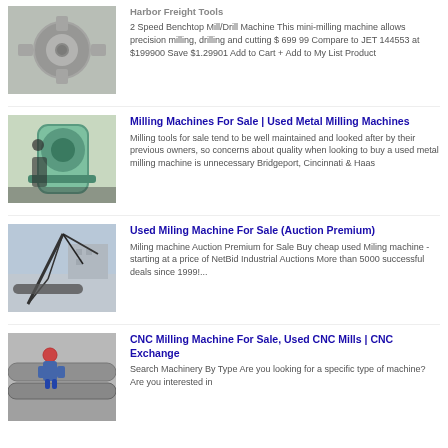[Figure (photo): Close-up of a metal machine component, possibly a drill or motor part, metallic silver finish]
Harbor Freight Tools
2 Speed Benchtop Mill/Drill Machine This mini-milling machine allows precision milling, drilling and cutting $ 699 99 Compare to JET 144553 at $199900 Save $1.29901 Add to Cart + Add to My List Product
[Figure (photo): Person operating a green milling machine, close-up view of machine head and operator hands]
Milling Machines For Sale | Used Metal Milling Machines
Milling tools for sale tend to be well maintained and looked after by their previous owners, so concerns about quality when looking to buy a used metal milling machine is unnecessary Bridgeport, Cincinnati & Haas
[Figure (photo): Industrial crane or conveyor equipment on a construction site, outdoor setting with buildings in background]
Used Miling Machine For Sale (Auction Premium)
Miling machine Auction Premium for Sale Buy cheap used Miling machine - starting at a price of NetBid Industrial Auctions More than 5000 successful deals since 1999!...
[Figure (photo): Worker in hard hat and blue overalls working on large industrial pipes indoors]
CNC Milling Machine For Sale, Used CNC Mills | CNC Exchange
Search Machinery By Type Are you looking for a specific type of machine? Are you interested in